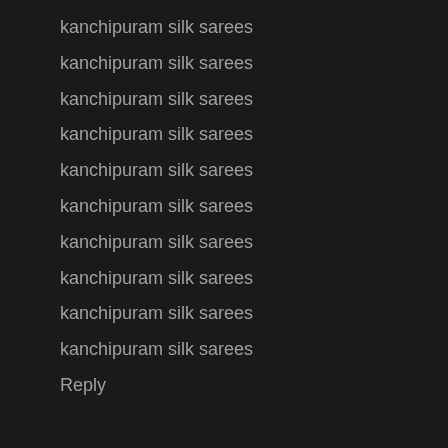kanchipuram silk sarees
kanchipuram silk sarees
kanchipuram silk sarees
kanchipuram silk sarees
kanchipuram silk sarees
kanchipuram silk sarees
kanchipuram silk sarees
kanchipuram silk sarees
kanchipuram silk sarees
kanchipuram silk sarees
Reply